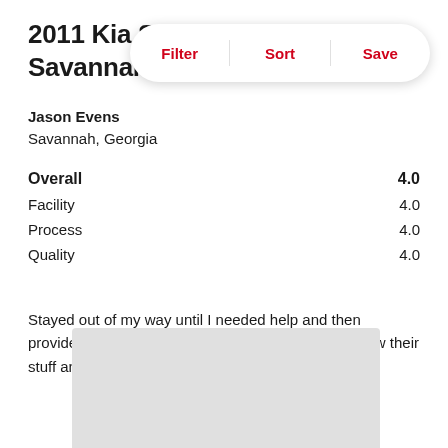2011 Kia S... of Savannah...
Filter | Sort | Save
Jason Evens
Savannah, Georgia
| Category | Score |
| --- | --- |
| Overall | 4.0 |
| Facility | 4.0 |
| Process | 4.0 |
| Quality | 4.0 |
Stayed out of my way until I needed help and then provided great help with purchasing my vehicle. Knew their stuff and weren't pushing me to buy.
[Figure (map): Gray map placeholder area at bottom of page]